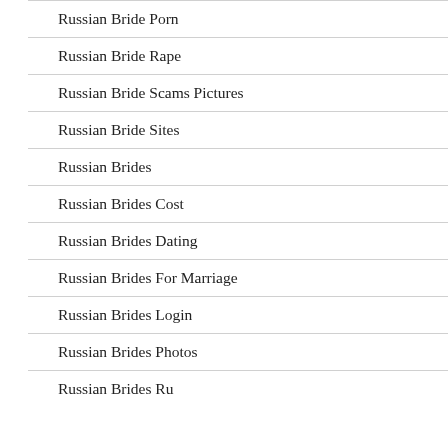Russian Bride Porn
Russian Bride Rape
Russian Bride Scams Pictures
Russian Bride Sites
Russian Brides
Russian Brides Cost
Russian Brides Dating
Russian Brides For Marriage
Russian Brides Login
Russian Brides Photos
Russian Brides Ru